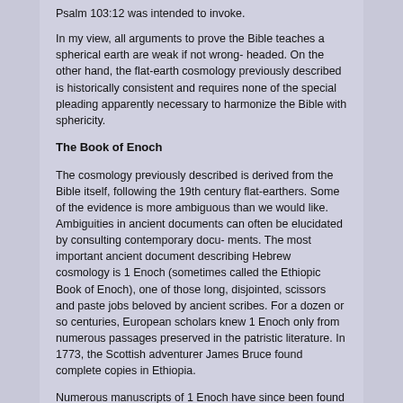Psalm 103:12 was intended to invoke.
In my view, all arguments to prove the Bible teaches a spherical earth are weak if not wrong- headed. On the other hand, the flat-earth cosmology previously described is historically consistent and requires none of the special pleading apparently necessary to harmonize the Bible with sphericity.
The Book of Enoch
The cosmology previously described is derived from the Bible itself, following the 19th century flat-earthers. Some of the evidence is more ambiguous than we would like. Ambiguities in ancient documents can often be elucidated by consulting contemporary docu- ments. The most important ancient document describing Hebrew cosmology is 1 Enoch (sometimes called the Ethiopic Book of Enoch), one of those long, disjointed, scissors and paste jobs beloved by ancient scribes. For a dozen or so centuries, European scholars knew 1 Enoch only from numerous passages preserved in the patristic literature. In 1773, the Scottish adventurer James Bruce found complete copies in Ethiopia.
Numerous manuscripts of 1 Enoch have since been found in Ethiopian monasteries. Turn of the century scholars concluded that parts of the book are pre-Maccabean, and most (perhaps all) of it was composed by 100 B.C. [Charles, 1913]. These conclusions were largely vindicated when numerous fragments of 1 Enoch were found among the so-called Dead Sea Scrolls at Qumran. There have been two major English translations of 1 Enoch, the 1913 translation of R. H. Charles and the 1983 translation by E. Isaac. All of the quotations that follow come from the newer translation.
The importance of 1 Enoch is poorly appreciated outside the scholarly